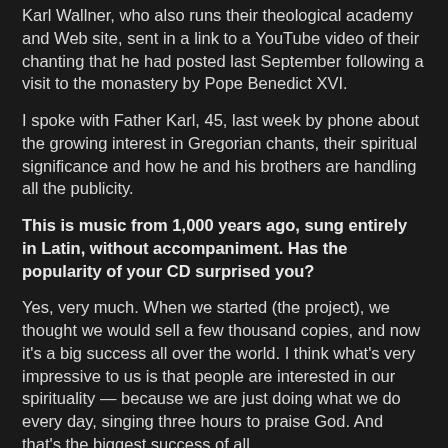Karl Wallner, who also runs their theological academy and Web site, sent in a link to a YouTube video of their chanting that he had posted last September following a visit to the monastery by Pope Benedict XVI.
I spoke with Father Karl, 45, last week by phone about the growing interest in Gregorian chants, their spiritual significance and how he and his brothers are handling all the publicity.
This is music from 1,000 years ago, sung entirely in Latin, without accompaniment. Has the popularity of your CD surprised you?
Yes, very much. When we started (the project), we thought we would sell a few thousand copies, and now it's a big success all over the world. I think what's very impressive to us is that people are interested in our spirituality — because we are just doing what we do every day, singing three hours to praise God. And that's the biggest success of all.
How do you explain the attraction of ancient, sacred